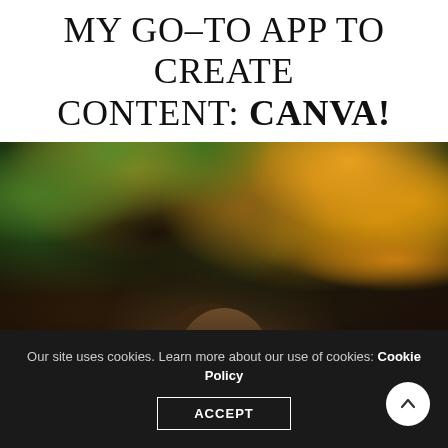MY GO-TO APP TO CREATE CONTENT: CANVA!
[Figure (photo): Person partially visible behind lush green foliage and orange/yellow flowering vines, photographed outdoors]
Our site uses cookies. Learn more about our use of cookies: Cookie Policy
ACCEPT